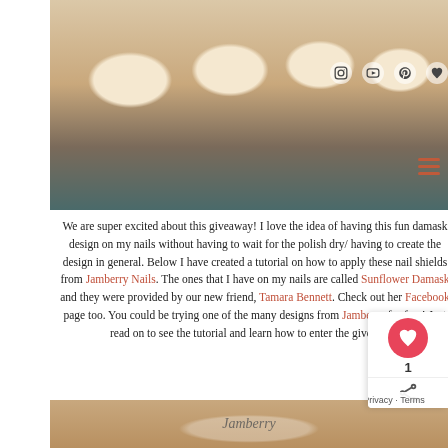[Figure (photo): Close-up photo of a hand with nails painted with orange/gold damask pattern nail shields, with social media icons overlaid on top portion]
We are super excited about this giveaway! I love the idea of having this fun damask design on my nails without having to wait for the polish dry/ having to create the design in general. Below I have created a tutorial on how to apply these nail shields from Jamberry Nails. The ones that I have on my nails are called Sunflower Damask and they were provided by our new friend, Tamara Bennett. Check out her Facebook page too. You could be trying one of the many designs from Jamberry for free! Just read on to see the tutorial and learn how to enter the giveaway!
[Figure (photo): Partial photo of a wooden surface with a Jamberry branded card/package visible at the bottom of the page]